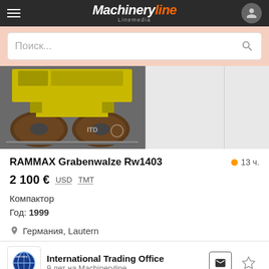Machineryline Linemedia
Поиск...
[Figure (photo): Yellow RAMMAX Grabenwalze Rw1403 compactor with drum roller on floor, with ITD watermark]
RAMMAX Grabenwalze Rw1403
13 ч.
2 100 € USD TMT
Компактор
Год: 1999
Германия, Lautern
International Trading Office
9 лет на Machineryline